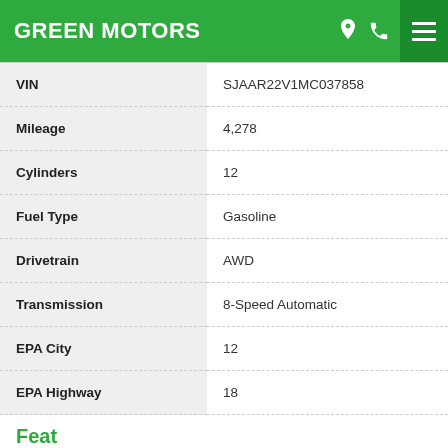GREEN MOTORS
| Field | Value |
| --- | --- |
| VIN | SJAAR22V1MC037858 |
| Mileage | 4,278 |
| Cylinders | 12 |
| Fuel Type | Gasoline |
| Drivetrain | AWD |
| Transmission | 8-Speed Automatic |
| EPA City | 12 |
| EPA Highway | 18 |
Features